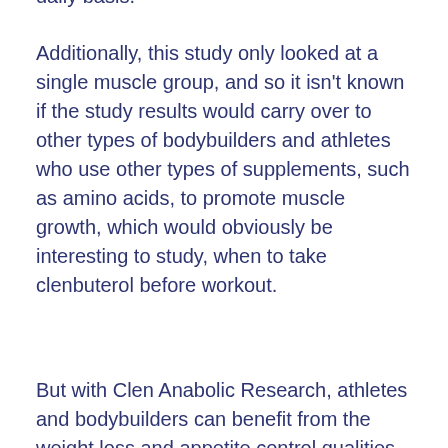daily basis.
Additionally, this study only looked at a single muscle group, and so it isn't known if the study results would carry over to other types of bodybuilders and athletes who use other types of supplements, such as amino acids, to promote muscle growth, which would obviously be interesting to study, when to take clenbuterol before workout.
But with Clen Anabolic Research, athletes and bodybuilders can benefit from the weight loss and appetite control qualities of Clenbuterol without testing positive for it.
Clenbuterol supplements are a class of